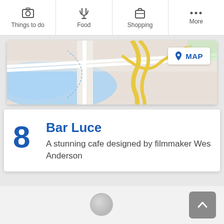Things to do | Food | Shopping | More
[Figure (map): Map view showing roads, a river/water body in blue, and yellow/gold highlighted roads, with a MAP button overlay in the top-right corner]
8 Bar Luce — A stunning cafe designed by filmmaker Wes Anderson